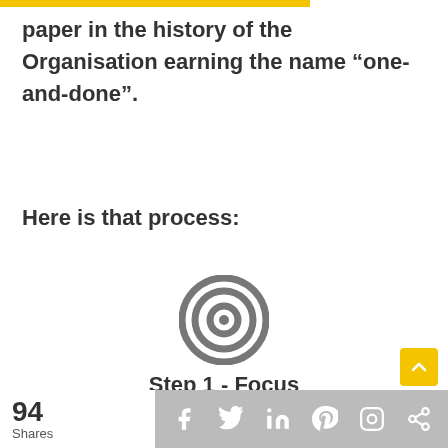paper in the history of the Organisation earning the name “one-and-done”.
Here is that process:
[Figure (illustration): A target/bullseye icon with concentric circles in grey]
Step 1 - Focus
Used to define what the ‘end looks like’ (i.e. Vision)
94 Shares | social sharing bar with Facebook, Twitter, LinkedIn, Pinterest, Instagram, Share icons